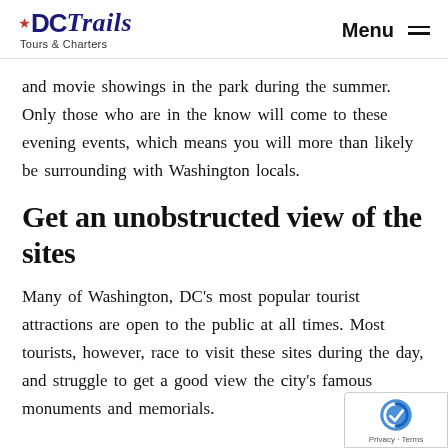DC Trails Tours & Charters | Menu
and movie showings in the park during the summer. Only those who are in the know will come to these evening events, which means you will more than likely be surrounding with Washington locals.
Get an unobstructed view of the sites
Many of Washington, DC’s most popular tourist attractions are open to the public at all times. Most tourists, however, race to visit these sites during the day, and struggle to get a good view the city’s famous monuments and memorials.